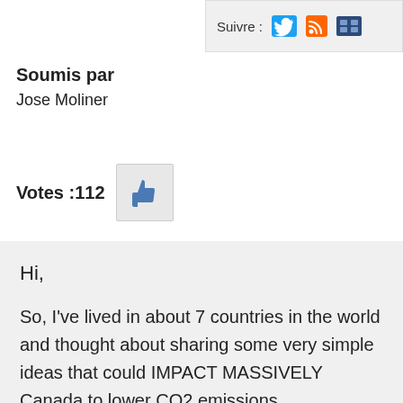[Figure (screenshot): Top bar with 'Suivre :' label and social media icons (Twitter, RSS, quotes/bookmark)]
Soumis par
Jose Moliner
Votes :112
[Figure (illustration): Thumbs up icon button in a grey box]
Hi,
So, I've lived in about 7 countries in the world and thought about sharing some very simple ideas that could IMPACT MASSIVELY Canada to lower CO2 emissions.
1) It doesn't make sense to have just one fast lane on the HIGHWAY for cars with